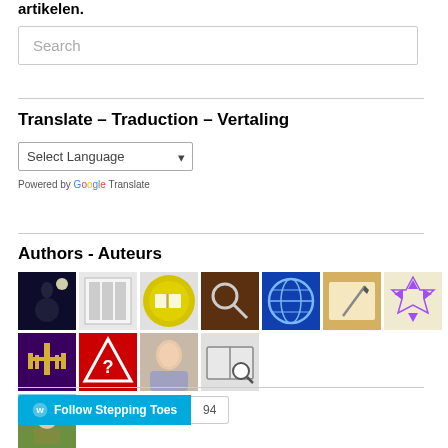artikelen.
Search
Translate – Traduction – Vertaling
Select Language
Powered by Google Translate
Authors - Auteurs
[Figure (illustration): Grid of 12 author avatar images representing various authors]
Follow Stepping Toes 94